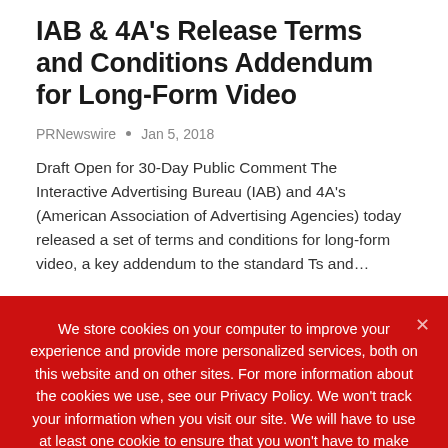IAB & 4A's Release Terms and Conditions Addendum for Long-Form Video
PRNewswire  •  Jan 5, 2018
Draft Open for 30-Day Public Comment The Interactive Advertising Bureau (IAB) and 4A's (American Association of Advertising Agencies) today released a set of terms and conditions for long-form video, a key addendum to the standard Ts and…
We store cookies on your computer to improve your experience and provide more personalized services, both on this website and on other sites. For more information about the cookies we use, see our Privacy Policy. We won't track your information when you visit our site. We will have to use at least one cookie to ensure that you won't have to make this choice again.
Accept  Privacy Policy